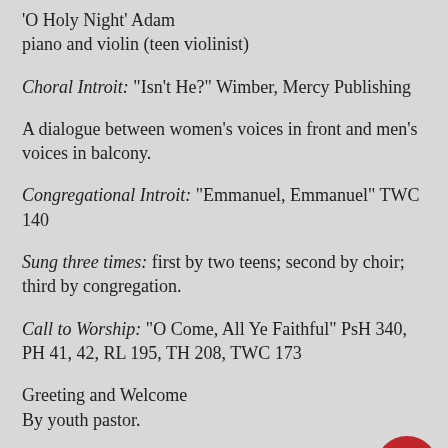'O Holy Night' Adam piano and violin (teen violinist)
Choral Introit: "Isn't He?" Wimber, Mercy Publishing
A dialogue between women's voices in front and men's voices in balcony.
Congregational Introit: "Emmanuel, Emmanuel" TWC 140
Sung three times: first by two teens; second by choir; third by congregation.
Call to Worship: "O Come, All Ye Faithful" PsH 340, PH 41, 42, RL 195, TH 208, TWC 173
Greeting and Welcome By youth pastor.
Hymn: "O Come, O Come, Emmanuel" PsH 328, PH 9, RL 194, SEL 122, TH 194, TWC 122